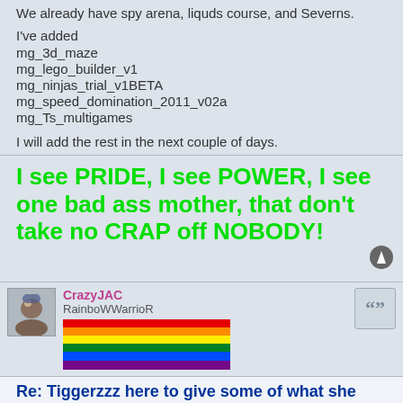We already have spy arena, liquds course, and Severns.
I've added
mg_3d_maze
mg_lego_builder_v1
mg_ninjas_trial_v1BETA
mg_speed_domination_2011_v02a
mg_Ts_multigames
I will add the rest in the next couple of days.
I see PRIDE, I see POWER, I see one bad ass mother, that don't take no CRAP off NOBODY!
CrazyJAC
RainboWWarrioR
[Figure (photo): Rainbow pride flag image]
Re: Tiggerzzz here to give some of what she has for MG!!
Sat Feb 05, 2011 9:56 pm
The rest have been added.